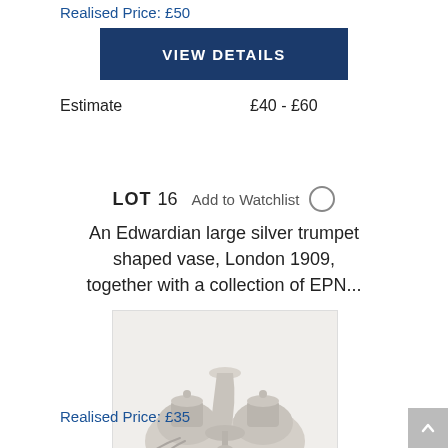Realised Price: £50
VIEW DETAILS
Estimate   £40 - £60
LOT 16  Add to Watchlist
An Edwardian large silver trumpet shaped vase, London 1909, together with a collection of EPN...
[Figure (photo): A collection of silver items including a trumpet-shaped vase, two domed pieces, and several spoons and utensils arranged together.]
Realised Price: £35